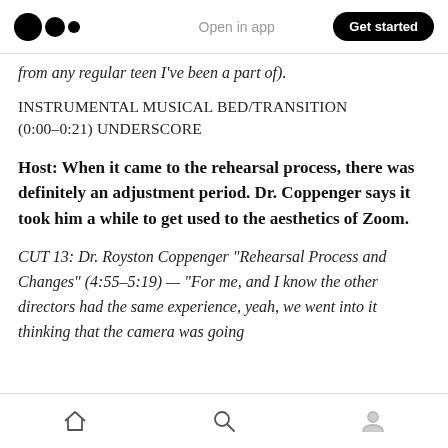Open in app | Get started
from any regular teen I've been a part of).
INSTRUMENTAL MUSICAL BED/TRANSITION (0:00–0:21) UNDERSCORE
Host: When it came to the rehearsal process, there was definitely an adjustment period. Dr. Coppenger says it took him a while to get used to the aesthetics of Zoom.
CUT 13: Dr. Royston Coppenger "Rehearsal Process and Changes" (4:55–5:19) — "For me, and I know the other directors had the same experience, yeah, we went into it thinking that the camera was going
Home | Search | Profile